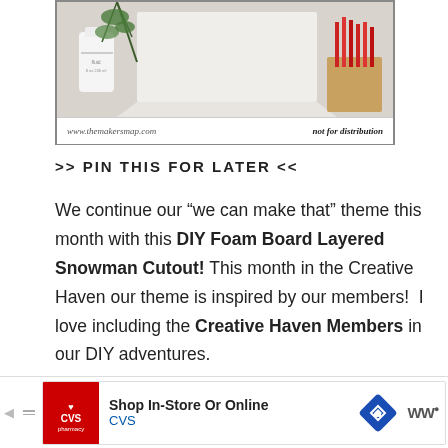[Figure (photo): Photo showing craft supplies including a white bottle/jar, green pine branches, white paper/fabric, and red reed diffuser sticks in a wooden holder. Footer bar shows www.themakersmap.com on left and 'not for distribution' on right.]
>> PIN THIS FOR LATER <<
We continue our “we can make that” theme this month with this DIY Foam Board Layered Snowman Cutout! This month in the Creative Haven our theme is inspired by our members!  I love including the Creative Haven Members in our DIY adventures.
[Figure (other): CVS Pharmacy advertisement banner: Shop In-Store Or Online, CVS]